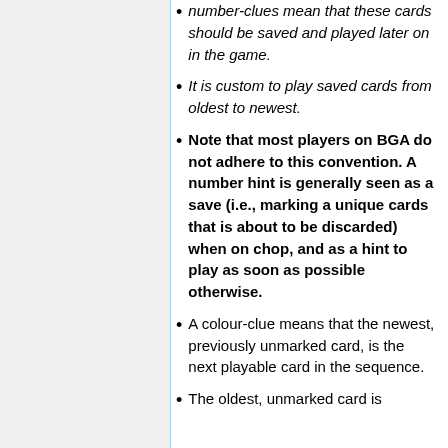number-clues mean that these cards should be saved and played later on in the game.
It is custom to play saved cards from oldest to newest.
Note that most players on BGA do not adhere to this convention. A number hint is generally seen as a save (i.e., marking a unique cards that is about to be discarded) when on chop, and as a hint to play as soon as possible otherwise.
A colour-clue means that the newest, previously unmarked card, is the next playable card in the sequence.
The oldest, unmarked card is